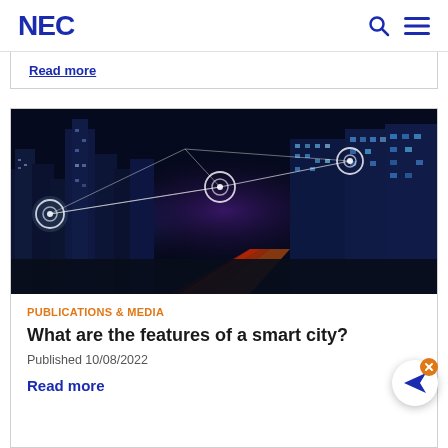NEC
Read more
[Figure (photo): Night cityscape with glowing skyscrapers and connected node network overlay lines representing smart city technology]
PUBLICATIONS & MEDIA
What are the features of a smart city?
Published 10/08/2022
Read more